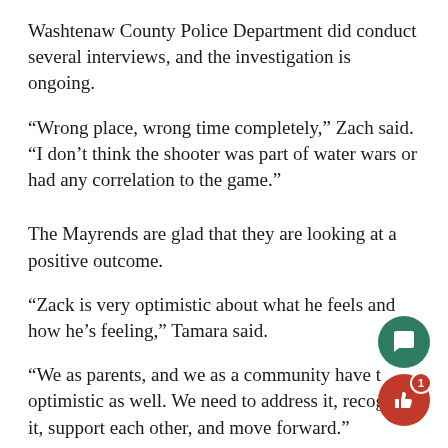Washtenaw County Police Department did conduct several interviews, and the investigation is ongoing.
“Wrong place, wrong time completely,” Zach said. “I don’t think the shooter was part of water wars or had any correlation to the game.”
The Mayrends are glad that they are looking at a positive outcome.
“Zack is very optimistic about what he feels and how he’s feeling,” Tamara said.
“We as parents, and we as a community have to be optimistic as well. We need to address it, recognize it, support each other, and move forward.”